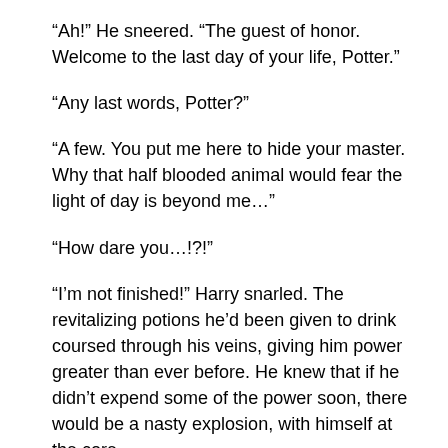“Ah!” He sneered. “The guest of honor. Welcome to the last day of your life, Potter.”
“Any last words, Potter?”
“A few. You put me here to hide your master. Why that half blooded animal would fear the light of day is beyond me…”
“How dare you…!?!”
“I’m not finished!” Harry snarled. The revitalizing potions he’d been given to drink coursed through his veins, giving him power greater than ever before. He knew that if he didn’t expend some of the power soon, there would be a nasty explosion, with himself at the core.
But apparently, Harry was finished. Fudge signaled an